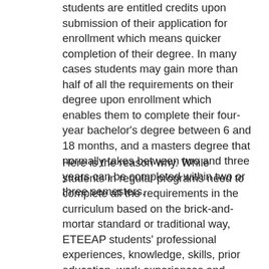students are entitled credits upon submission of their application for enrollment which means quicker completion of their degree. In many cases students may gain more than half of all the requirements on their degree upon enrollment which enables them to complete their four-year bachelor's degree between 6 and 18 months, and a masters degree that normally takes between two and three years can be completed within two or three semesters.
Here is the reason why. While students in regular programs need to complete all the requirements in the curriculum based on the brick-and-mortar standard or traditional way, ETEEAP students' professional experiences, knowledge, skills, prior education, work experiences and training, awards and achievements relevant to a course or field under the institution's academic programs are